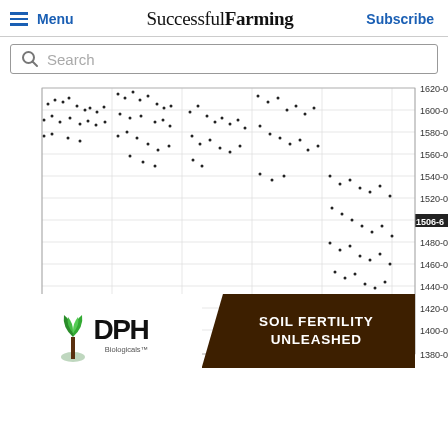Menu | Successful Farming | Subscribe
Search
[Figure (continuous-plot): A scatter/time-series plot showing data points scattered across a grid. Y-axis values range from approximately 1380-0 at the bottom to 1620-0 at the top, with gridlines at intervals of 20. Data points (small dots) are densely scattered in the upper portion (1580-0 to 1620-0 range) for early x positions, and progressively spread downward toward 1380-0 range at later x positions. A highlighted label '1506-6' appears on the right side around the 1506 level. The chart has vertical gridlines dividing it into roughly 6 columns.]
[Figure (illustration): DPH Biologicals advertisement banner. Left side: DPH Biologicals logo with green plant/tree graphic and 'DPH Biologicals' text on white background. Right side: dark brown soil-textured background with white bold text reading 'SOIL FERTILITY UNLEASHED'.]